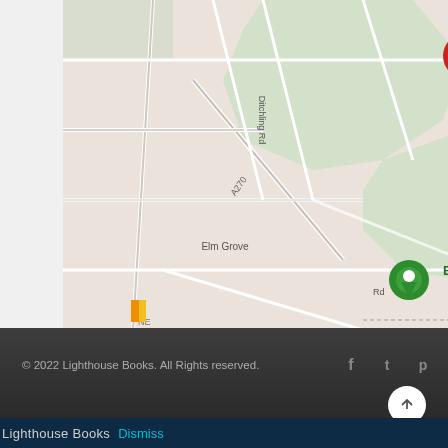[Figure (map): Google Maps screenshot showing 39 Eastbourne Rd, Brighton BN2 4DL marked with a red pin, and Brighton Racecourse marked with a green pin. Visible streets include Ditchling Rd, A270, Elm Grove. Also shows Nuffield Brighton H(ospital) label in red.]
© 2022 Lighthouse Books. All Rights reserved.
Lighthouse Books  Dismiss